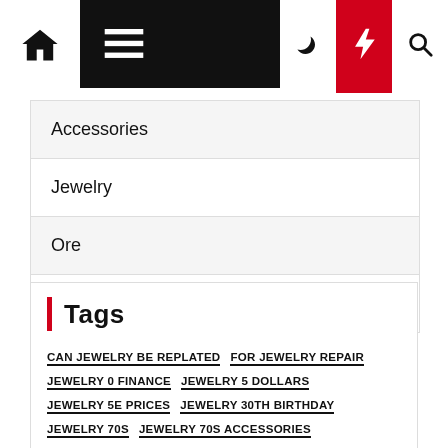Navigation bar with home, menu, moon, bolt, and search icons
Accessories
Jewelry
Ore
Ring
Tags
CAN JEWELRY BE REPLATED
FOR JEWELRY REPAIR
JEWELRY 0 FINANCE
JEWELRY 5 DOLLARS
JEWELRY 5E PRICES
JEWELRY 30TH BIRTHDAY
JEWELRY 70S
JEWELRY 70S ACCESSORIES